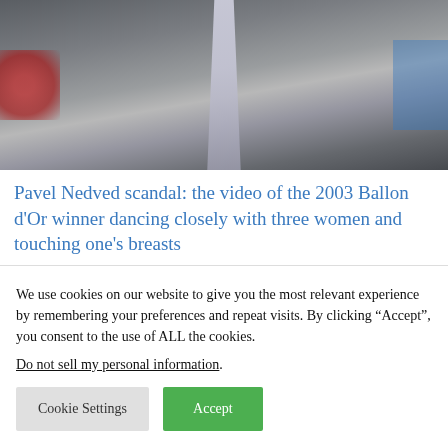[Figure (photo): Close-up photo of a person in a grey suit with a striped tie, with blurred red and blue backgrounds on either side]
Pavel Nedved scandal: the video of the 2003 Ballon d’Or winner dancing closely with three women and touching one’s breasts
We use cookies on our website to give you the most relevant experience by remembering your preferences and repeat visits. By clicking “Accept”, you consent to the use of ALL the cookies.
Do not sell my personal information.